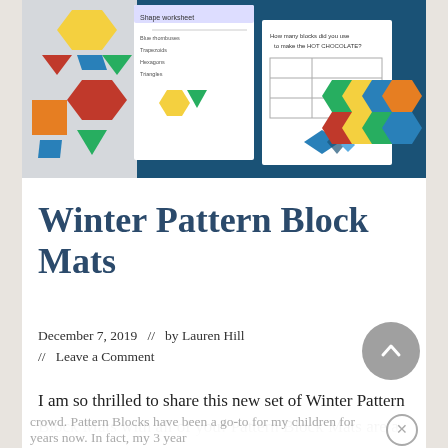[Figure (photo): Colorful pattern block mat activity sheets showing geometric shapes (hexagons, triangles, rhombuses) in red, yellow, green, blue, orange colors, with worksheet pages asking 'How many blocks did you use to make the HOT CHOCOLATE?']
Winter Pattern Block Mats
December 7, 2019  //  by Lauren Hill  //  Leave a Comment
I am so thrilled to share this new set of Winter Pattern Block Mats with all of you! Pattern Block Mats are a unique and useful activity for the Preschool and Kindergarten crowd. Pattern Blocks have been a go-to for my children for years now. In fact, my 3 year